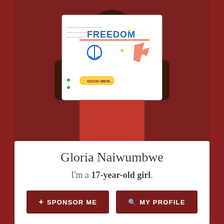[Figure (photo): A person holding up a colorful worksheet/poster that says FREEDOM with various prompts and decorative elements including peace signs and speech bubbles, against a red background]
Gloria Naiwumbwe
I'm a 17-year-old girl.
+ SPONSOR ME
🔍 MY PROFILE
[Figure (photo): Close-up photo of a young person's head/face against a red wooden door background, showing the top of their head]